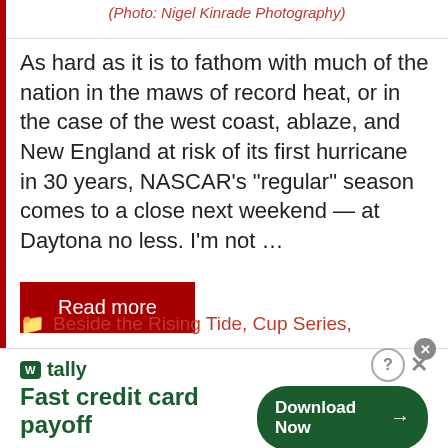(Photo: Nigel Kinrade Photography)
As hard as it is to fathom with much of the nation in the maws of record heat, or in the case of the west coast, ablaze, and New England at risk of its first hurricane in 30 years, NASCAR’s “regular” season comes to a close next weekend — at Daytona no less. I’m not …
Read more
Beside the Rising Tide, Cup Series,
[Figure (screenshot): Tally app advertisement banner: 'Fast credit card payoff' with Download Now button]